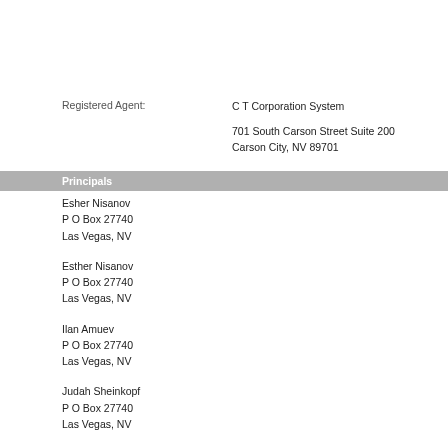Registered Agent: C T Corporation System
701 South Carson Street Suite 200
Carson City, NV 89701
Principals
Esher Nisanov
P O Box 27740
Las Vegas, NV
Esther Nisanov
P O Box 27740
Las Vegas, NV
Ilan Amuev
P O Box 27740
Las Vegas, NV
Judah Sheinkopf
P O Box 27740
Las Vegas, NV